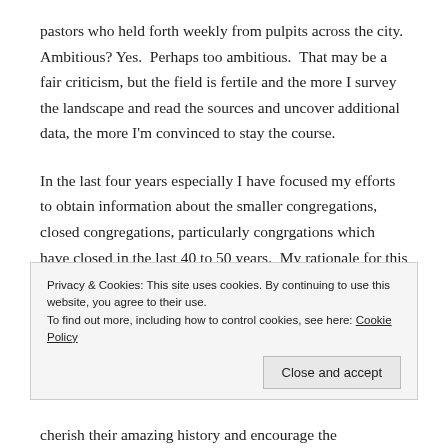pastors who held forth weekly from pulpits across the city. Ambitious? Yes.  Perhaps too ambitious.  That may be a fair criticism, but the field is fertile and the more I survey the landscape and read the sources and uncover additional data, the more I'm convinced to stay the course.
In the last four years especially I have focused my efforts to obtain information about the smaller congregations, closed congregations, particularly congrgations which have closed in the last 40 to 50 years.  My rationale for this focus is that some history
Privacy & Cookies: This site uses cookies. By continuing to use this website, you agree to their use.
To find out more, including how to control cookies, see here: Cookie Policy
Close and accept
cherish their amazing history and encourage the